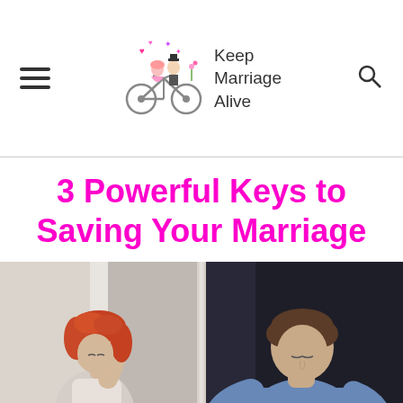Keep Marriage Alive
3 Powerful Keys to Saving Your Marriage
[Figure (photo): A distressed couple separated by a doorframe — a red-haired woman on the left leaning her head against the frame, and a man in a blue shirt on the right with his head bowed, both appearing sad and disconnected.]